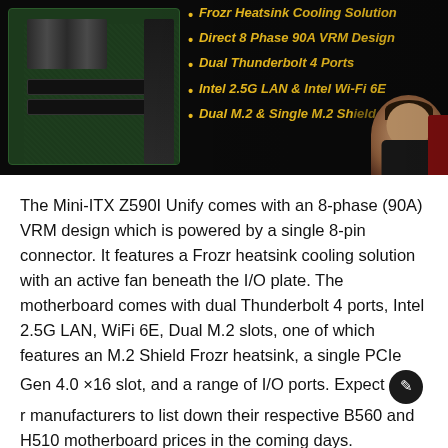[Figure (screenshot): MSI Z590I Unify motherboard product banner on dark background with yellow bullet points listing features: Frozr Heatsink Cooling Solution, Direct 8 Phase 90A VRM Design, Dual Thunderbolt 4 Ports, Intel 2.5G LAN & Intel Wi-Fi 6E, Dual M.2 & Single M.2 Shield Frozr. A presenter is partially visible in the bottom right corner.]
The Mini-ITX Z590I Unify comes with an 8-phase (90A) VRM design which is powered by a single 8-pin connector. It features a Frozr heatsink cooling solution with an active fan beneath the I/O plate. The motherboard comes with dual Thunderbolt 4 ports, Intel 2.5G LAN, WiFi 6E, Dual M.2 slots, one of which features an M.2 Shield Frozr heatsink, a single PCIe Gen 4.0 ×16 slot, and a range of I/O ports. Expect manufacturers to list down their respective B560 and H510 motherboard prices in the coming days.